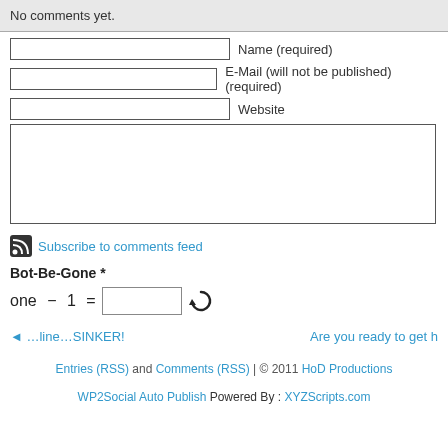No comments yet.
Name (required)
E-Mail (will not be published) (required)
Website
Subscribe to comments feed
Bot-Be-Gone *
one − 1 =
◄ …line…SINKER!
Are you ready to get h
Entries (RSS) and Comments (RSS) | © 2011 HoD Productions
WP2Social Auto Publish Powered By : XYZScripts.com